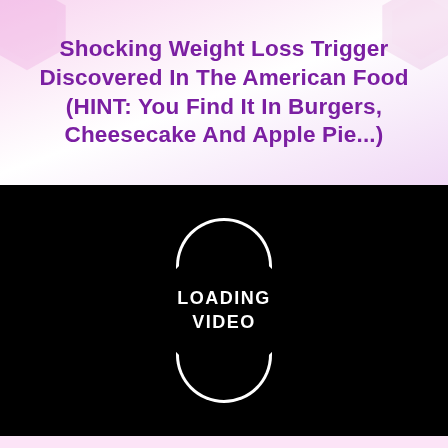Shocking Weight Loss Trigger Discovered In The American Food (HINT: You Find It In Burgers, Cheesecake And Apple Pie...)
[Figure (screenshot): Black video player area showing a loading spinner (two arcs) with the text LOADING VIDEO in white centered on the screen.]